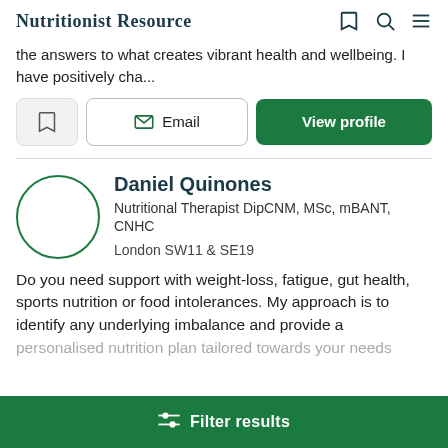Nutritionist Resource
the answers to what creates vibrant health and wellbeing. I have positively cha...
Email | View profile
Daniel Quinones
Nutritional Therapist DipCNM, MSc, mBANT, CNHC
London SW11 & SE19
Do you need support with weight-loss, fatigue, gut health, sports nutrition or food intolerances. My approach is to identify any underlying imbalance and provide a personalised nutrition plan tailored towards your needs
Filter results